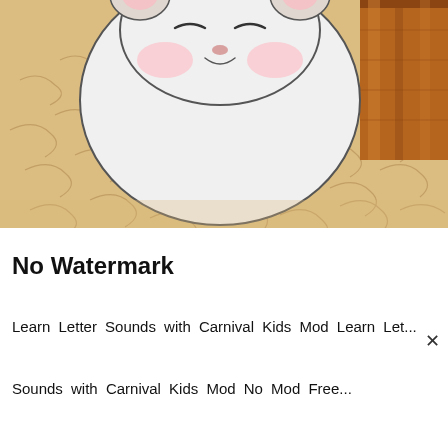[Figure (illustration): Cartoon illustration of a round white hamster with pink cheeks sitting on golden/beige haystack bedding material, with a wooden structure visible at the top right corner. The hamster has closed/squinting eyes and looks content.]
No Watermark
Learn Letter Sounds with Carnival Kids Mod Learn Let...
Sounds with Carnival Kids Mod No Mod Free...